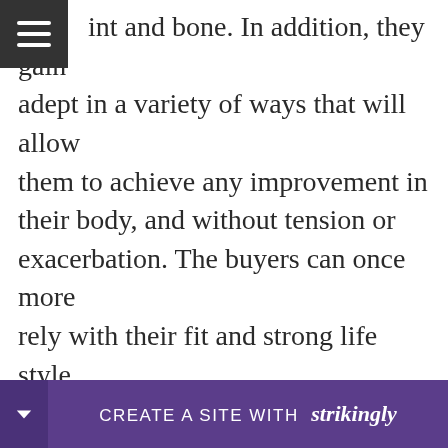int and bone. In addition, they gain adept in a variety of ways that will allow them to achieve any improvement in their body, and without tension or exacerbation. The buyers can once more rely with their fit and strong life style, allowing them to make numerous improvements with their joints and knees efficiently and without expressing any issues in their body.

Lazarus Naturals CBD Gummies Shark Tank [obscured] int whe [obscured]
[Figure (other): Strikingly website builder promotional banner at the bottom of the page with purple background, a dropdown arrow on the left, and text 'CREATE A SITE WITH strikingly']